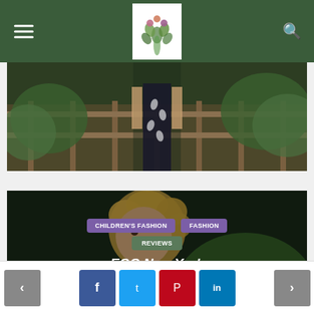Navigation header with menu, logo, and search
[Figure (photo): A person in a floral/leaf-patterned dress standing on a wooden deck or bridge surrounded by greenery]
[Figure (photo): A young blonde curly-haired child in a grey t-shirt with colorful design, outdoors with green foliage background. Overlaid with category tags: CHILDREN'S FASHION, FASHION, REVIEWS, article title EGG New York, and timestamp 2 weeks ago]
CHILDREN'S FASHION
FASHION
REVIEWS
EGG New York
2 weeks ago
Navigation and social share buttons: previous, Facebook, Twitter, Pinterest, LinkedIn, next